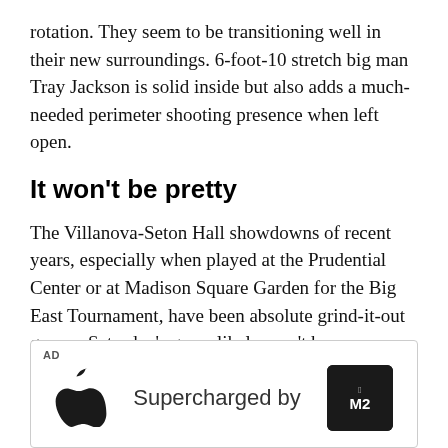rotation. They seem to be transitioning well in their new surroundings. 6-foot-10 stretch big man Tray Jackson is solid inside but also adds a much-needed perimeter shooting presence when left open.
It won't be pretty
The Villanova-Seton Hall showdowns of recent years, especially when played at the Prudential Center or at Madison Square Garden for the Big East Tournament, have been absolute grind-it-out games. Saturday's game likely won't be any different, and you don't need to dive into the numbers and stats to know that.
[Figure (other): Advertisement banner featuring Apple logo on the left, 'Supercharged by' text in the center, and an M2 chip graphic on the right. AD label in top-left corner.]